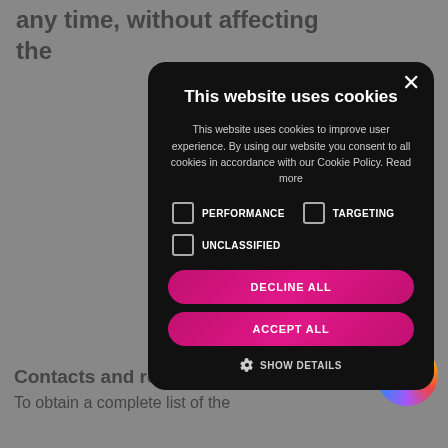any time, without affecting the
[Figure (screenshot): Cookie consent modal dialog on a dark background. Title: 'This website uses cookies'. Body text explains cookie usage and consent. Three unchecked checkboxes: PERFORMANCE, TARGETING, UNCLASSIFIED. Two pink rounded buttons: DECLINE ALL and ACCEPT ALL. A gear icon with SHOW DETAILS link at the bottom. A close X button in the top right of the modal.]
Contacts and requests
To obtain a complete list of the